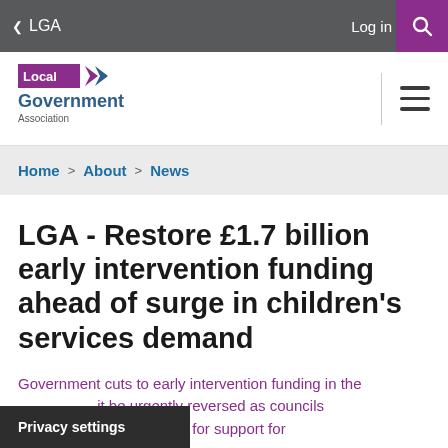< LGA   Log in  [Search]
[Figure (logo): Local Government Association logo with purple background brand mark]
Home > About > News
LGA - Restore £1.7 billion early intervention funding ahead of surge in children's services demand
Government cuts to early intervention funding in the ... it be urgently reversed as councils ... be in demand for support for
Privacy settings